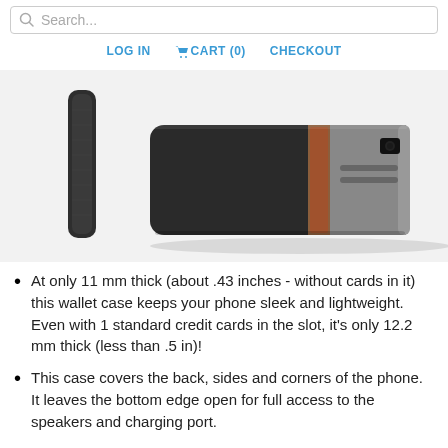Search... | LOG IN  CART (0)  CHECKOUT
[Figure (photo): Product photo of a dark grey fabric/felt phone wallet case shown from the side and back, with a tan/brown leather card slot accent. Two views: a narrow side edge view on the left and a wider angled back view showing the card slot on the right.]
At only 11 mm thick (about .43 inches - without cards in it) this wallet case keeps your phone sleek and lightweight. Even with 1 standard credit cards in the slot, it's only 12.2 mm thick (less than .5 in)!
This case covers the back, sides and corners of the phone. It leaves the bottom edge open for full access to the speakers and charging port.